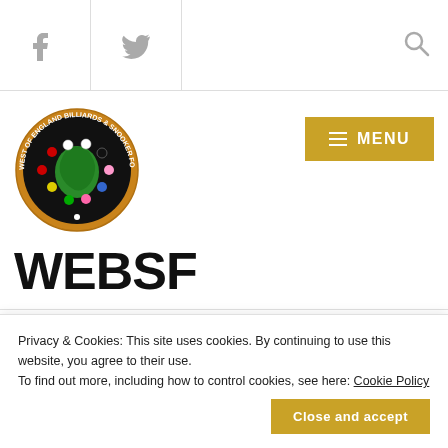Facebook icon | Twitter icon | Search icon
[Figure (logo): West of England Billiards & Snooker Foundation circular logo with green England map and snooker balls]
[Figure (other): Gold MENU button with hamburger lines]
WEBSF
JUNE 20, 2005 |
West Teaching School Raises Funds for Melissa
Privacy & Cookies: This site uses cookies. By continuing to use this website, you agree to their use.
To find out more, including how to control cookies, see here: Cookie Policy
Close and accept
+ Follow